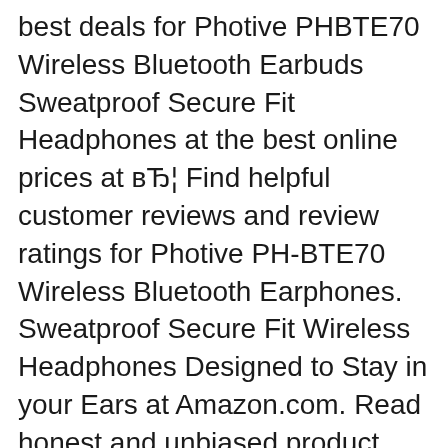best deals for Photive PHBTE70 Wireless Bluetooth Earbuds Sweatproof Secure Fit Headphones at the best online prices at вЂ¦ Find helpful customer reviews and review ratings for Photive PH-BTE70 Wireless Bluetooth Earphones. Sweatproof Secure Fit Wireless Headphones Designed to Stay in your Ears at Amazon.com. Read honest and unbiased product reviews from our users..
[Figure (illustration): Broken image icon followed by alt text: photive sport bluetooth headphones instructions]
Photive Headphones for Sale Shop New & Used eBay
Amazon.caCustomer reviews Photive